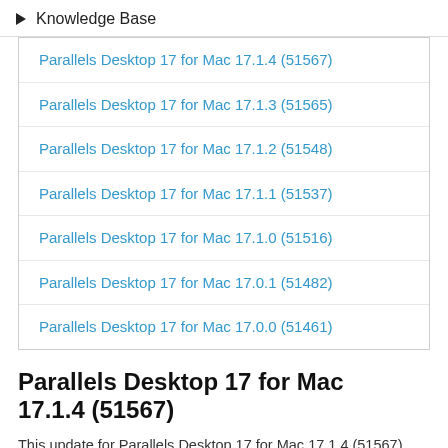Knowledge Base
Parallels Desktop 17 for Mac 17.1.4 (51567)
Parallels Desktop 17 for Mac 17.1.3 (51565)
Parallels Desktop 17 for Mac 17.1.2 (51548)
Parallels Desktop 17 for Mac 17.1.1 (51537)
Parallels Desktop 17 for Mac 17.1.0 (51516)
Parallels Desktop 17 for Mac 17.0.1 (51482)
Parallels Desktop 17 for Mac 17.0.0 (51461)
Parallels Desktop 17 for Mac 17.1.4 (51567)
This update for Parallels Desktop 17 for Mac 17.1.4 (51567) addresses overall stability and performance issues.